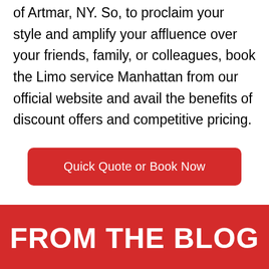of Artmar, NY. So, to proclaim your style and amplify your affluence over your friends, family, or colleagues, book the Limo service Manhattan from our official website and avail the benefits of discount offers and competitive pricing.
Quick Quote or Book Now
FROM THE BLOG
[Figure (photo): Beach scene with blue sky background, two people sitting under blue beach umbrellas]